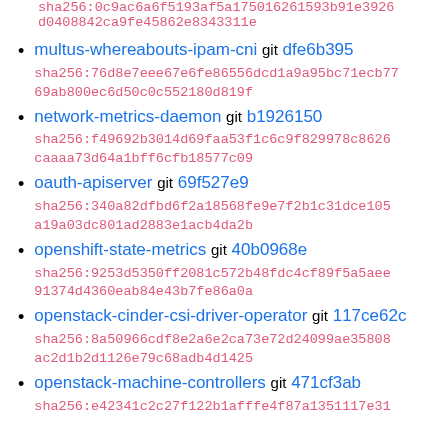sha256:0c9ac6a6f5193af5a175016261593b91e3926d0408842ca9fe45862e8343311e
multus-whereabouts-ipam-cni git dfe6b395
sha256:76d8e7eee67e6fe86556dcd1a9a95bc71ecb7769ab800ec6d50c0c552180d819f
network-metrics-daemon git b1926150
sha256:f49692b3014d69faa53f1c6c9f829978c8626caaaa73d64a1bff6cfb18577c09
oauth-apiserver git 69f527e9
sha256:340a82dfbd6f2a18568fe9e7f2b1c31dce105a19a03dc801ad2883e1acb4da2b
openshift-state-metrics git 40b0968e
sha256:9253d5350ff2081c572b48fdc4cf89f5a5aee91374d4360eab84e43b7fe86a0a
openstack-cinder-csi-driver-operator git 117ce62c
sha256:8a50966cdf8e2a6e2ca73e72d24099ae35808ac2d1b2d1126e79c68adb4d1425
openstack-machine-controllers git 471cf3ab
sha256:e42341c2c27f122b1afffe4f87a1351117e31